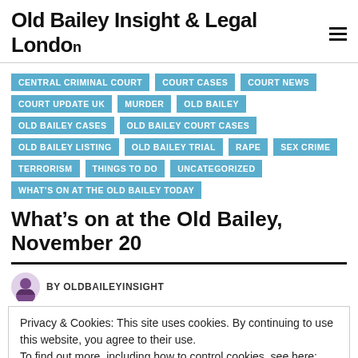Old Bailey Insight & Legal London
CENTRAL CRIMINAL COURT
COURT CASES
COURT NEWS
COURT UPDATE UK
MURDER
OLD BAILEY
OLD BAILEY CASES
OLD BAILEY COURT CASES
OLD BAILEY LISTING
OLD BAILEY TRIAL
RAPE
SEX CRIME
TERRORISM
THINGS TO DO
UNCATEGORIZED
WHAT'S ON AT THE OLD BAILEY TODAY
What’s on at the Old Bailey, November 20
BY OLDBAILEYINSIGHT
Privacy & Cookies: This site uses cookies. By continuing to use this website, you agree to their use.
To find out more, including how to control cookies, see here: Our Cookie Policy
Close and accept
Three top speakers including a senior criminal